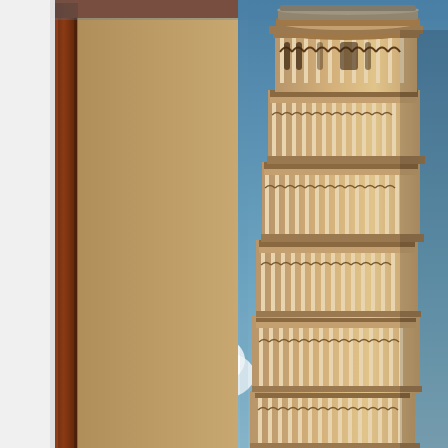[Figure (photo): A photograph showing the Leaning Tower of Pisa against a blue sky with white clouds. In the foreground on the left side, there is a dark reddish-brown wooden door frame partially visible, and behind it a beige/tan wall. The tower is prominently displayed on the right side of the image, showing its characteristic white marble columns, arched galleries, and slight lean. The tower's upper portion including the belfry is visible at the top. The image appears to be taken from an interior space looking toward the tower through or beside a doorway.]